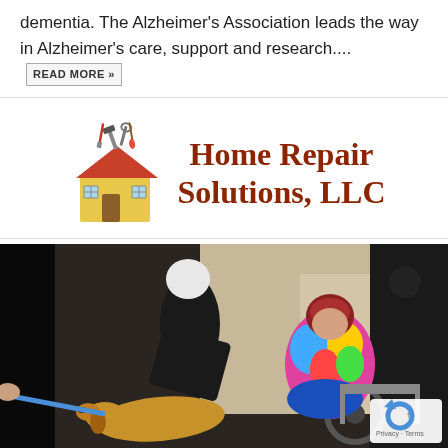dementia. The Alzheimer's Association leads the way in Alzheimer's care, support and research.... READ MORE »
[Figure (logo): Home Repair Solutions, LLC logo with toolbox illustration and text in dark red serif font]
[Figure (photo): Elderly women petting a golden retriever therapy dog indoors, one woman in a colorful blouse seated in a wheelchair, another in black top bending over the dog, held on a blue leash]